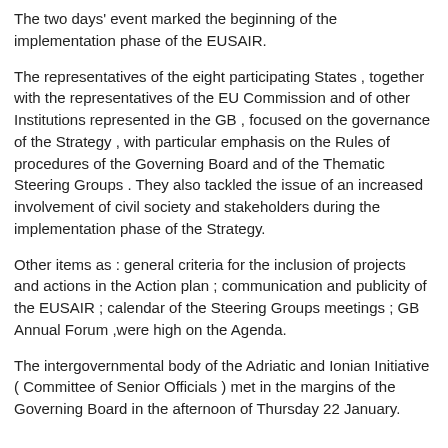The two days' event marked the beginning of the implementation phase of the EUSAIR.
The representatives of the eight participating States , together with the representatives of the EU Commission and of other Institutions represented in the GB , focused on the governance of the Strategy , with particular emphasis on the Rules of procedures of the Governing Board and of the Thematic Steering Groups . They also tackled the issue of an increased involvement of civil society and stakeholders during the implementation phase of the Strategy.
Other items as : general criteria for the inclusion of projects and actions in the Action plan ; communication and publicity of the EUSAIR ; calendar of the Steering Groups meetings ; GB Annual Forum ,were high on the Agenda.
The intergovernmental body of the Adriatic and Ionian Initiative ( Committee of Senior Officials ) met in the margins of the Governing Board in the afternoon of Thursday 22 January.